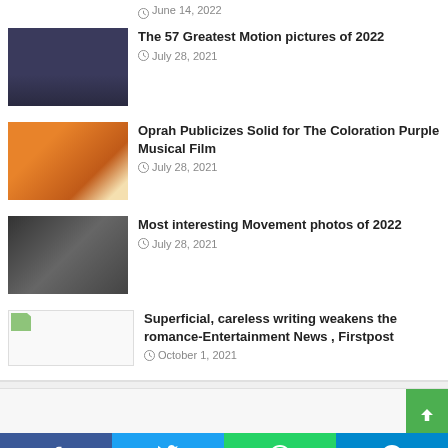June 14, 2022
The 57 Greatest Motion pictures of 2022
July 28, 2021
Oprah Publicizes Solid for The Coloration Purple Musical Film
July 28, 2021
Most interesting Movement photos of 2022
July 28, 2021
Superficial, careless writing weakens the romance-Entertainment News , Firstpost
October 1, 2021